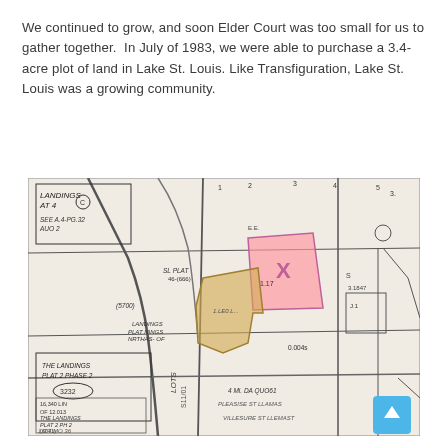We continued to grow, and soon Elder Court was too small for us to gather together.  In July of 1983, we were able to purchase a 3.4-acre plot of land in Lake St. Louis. Like Transfiguration, Lake St. Louis was a growing community.
[Figure (map): A scanned land plat/survey map showing parcels in Lake St. Louis. Several parcels are highlighted in pink and yellow/gold colors. Labels visible include 'LANDINGS AT 4', 'SEE A.4-PG.32 AUO 2', 'THE LANDINGS PLAT 2 PHASE 2 (3232)', 'LOTS', and various parcel numbers and annotations. One parcel is marked with an X in pink and another is shaded gold/yellow.]